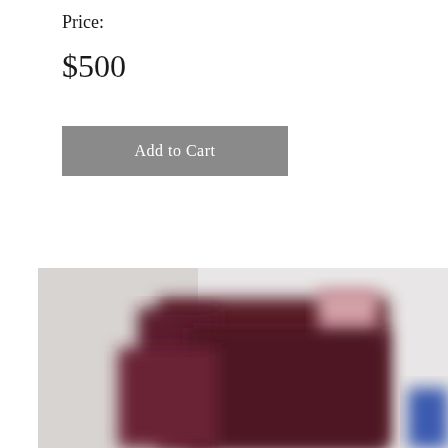Price:
$500
Add to Cart
[Figure (photo): A blurred close-up photograph of a dark maroon/burgundy object, possibly a garment or fabric item, on a light background with some blue visible at the right edge.]